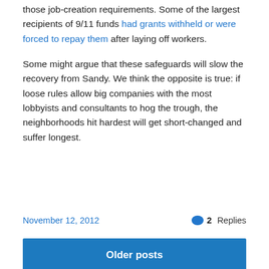those job-creation requirements. Some of the largest recipients of 9/11 funds had grants withheld or were forced to repay them after laying off workers.
Some might argue that these safeguards will slow the recovery from Sandy. We think the opposite is true: if loose rules allow big companies with the most lobbyists and consultants to hog the trough, the neighborhoods hit hardest will get short-changed and suffer longest.
November 12, 2012
2 Replies
Older posts
CLAWBACK.ORG – A Blog of Good Jobs First
Clawback: a step taken by a government to recoup subsidies paid to a